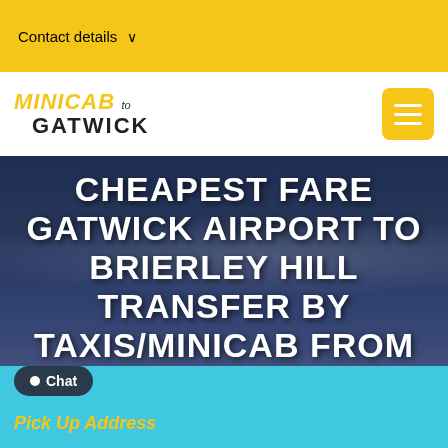Contact details ∨
MINICAB to GATWICK
[Figure (photo): London skyline background with Tower Bridge and city buildings at dusk/evening, used as hero image background]
CHEAPEST FARE GATWICK AIRPORT TO BRIERLEY HILL TRANSFER BY TAXIS/MINICAB FROM £168.51
Were you looking for Lowest fare Reliable airport Minicab/Taxis?
Chat
Pick Up Address